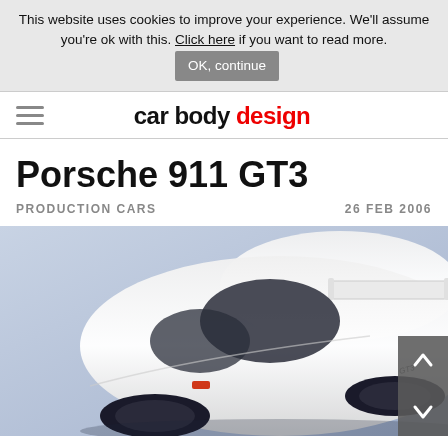This website uses cookies to improve your experience. We'll assume you're ok with this. Click here if you want to read more. OK, continue
car body design
Porsche 911 GT3
PRODUCTION CARS   26 FEB 2006
[Figure (photo): Top-down angled view of a white Porsche 911 GT3 sports car on a light blue/grey studio background]